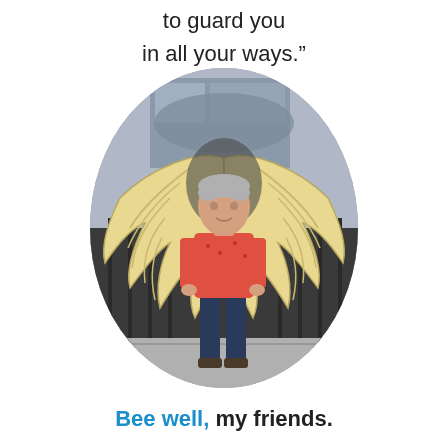to guard you
in all your ways."
[Figure (photo): An older woman with short gray hair wearing a red/salmon shirt and dark jeans, standing in front of a large decorative metal angel wings sculpture/mural, cropped in an oval shape.]
Bee well, my friends.